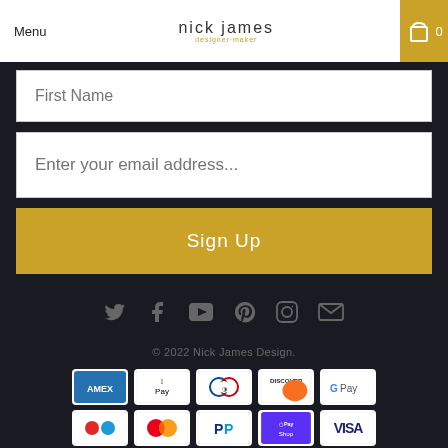Menu | nick james designer·maker | Search | Cart 0
First Name
Enter your email address...
Sign Up
[Figure (infographic): Social media icons: Twitter, Facebook, YouTube, Pinterest, Instagram, Email]
© 2022 Nick James Design.
[Figure (infographic): Payment method logos: American Express, Apple Pay, Diners Club, Discover, Google Pay, Shop Pay, Mastercard, PayPal, Samsung Pay (Shop Pay), Visa]